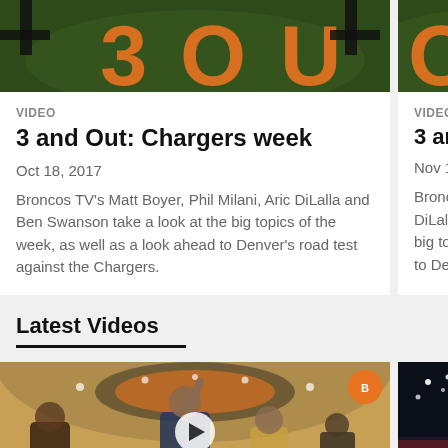[Figure (photo): Top image of card showing orange and dark sports logo/graphic on green field background]
VIDEO
3 and Out: Chargers week
Oct 18, 2017
Broncos TV's Matt Boyer, Phil Milani, Aric DiLalla and Ben Swanson take a look at the big topics of the week, as well as a look ahead to Denver's road test against the Chargers.
[Figure (photo): Partially visible right card with VIDEO label and '3 and Ou...' title, Nov 15 2017 date, partial description text]
Latest Videos
[Figure (photo): Video thumbnail showing a coach or player in locker room with Broncos badge, play button in center]
[Figure (photo): Partially visible right video thumbnail showing stadium with lights at night]